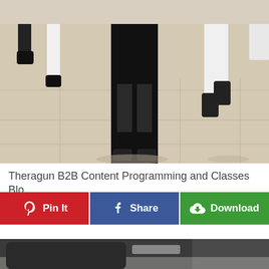[Figure (photo): Group of people in athletic/workout wear standing on a tiled outdoor surface, viewed from behind/side. Person in center wearing black mesh leggings and black sports top. Others wearing white and black athletic gear.]
Theragun B2B Content Programming and Classes Blo...
[Figure (screenshot): Three social sharing buttons in a row: red 'Pin It' button with Pinterest logo, blue 'Share' button with Facebook logo, green 'Download' button with cloud-download icon.]
[Figure (photo): Partial view of a second image at the bottom showing what appears to be a dark surface or device, possibly a massage gun or similar product on a gray/marble background.]